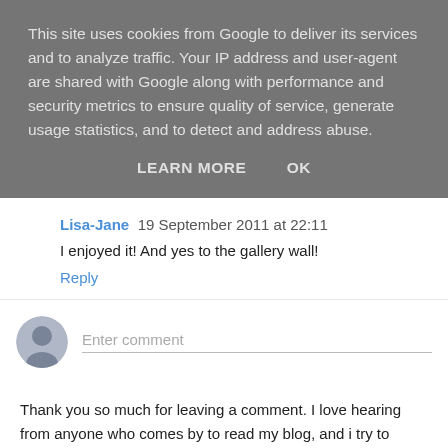This site uses cookies from Google to deliver its services and to analyze traffic. Your IP address and user-agent are shared with Google along with performance and security metrics to ensure quality of service, generate usage statistics, and to detect and address abuse.
LEARN MORE   OK
Lisa-Jane  19 September 2011 at 22:11
I enjoyed it! And yes to the gallery wall!
Reply
Enter comment
Thank you so much for leaving a comment. I love hearing from anyone who comes by to read my blog, and i try to respond to every comment. You all help me feel motivated to continue with this